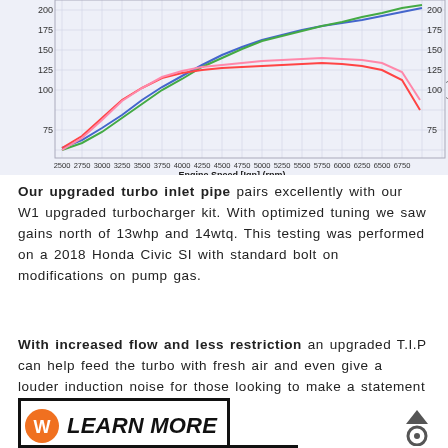[Figure (continuous-plot): Dyno chart showing multiple performance curves (horsepower and torque) vs Engine Speed [Ign] (rpm) from 2500 to 6750 rpm. Y-axis shows values 75-200 on left side. Multiple colored lines (red, green, blue, pink) overlaid. X-axis labeled 'Engine Speed [Ign] (rpm)'.]
Our upgraded turbo inlet pipe pairs excellently with our W1 upgraded turbocharger kit. With optimized tuning we saw gains north of 13whp and 14wtq. This testing was performed on a 2018 Honda Civic SI with standard bolt on modifications on pump gas.
With increased flow and less restriction an upgraded T.I.P can help feed the turbo with fresh air and even give a louder induction noise for those looking to make a statement with this upgrade.
[Figure (logo): LEARN MORE button with orange W logo icon on left, bold italic black text 'LEARN MORE', black border box with underline beneath]